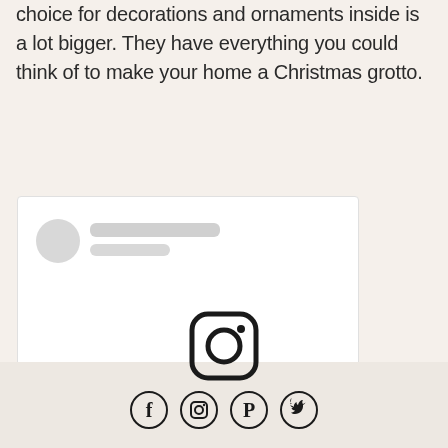choice for decorations and ornaments inside is a lot bigger. They have everything you could think of to make your home a Christmas grotto.
[Figure (screenshot): Embedded social media post card with avatar placeholder (grey circle) and two grey placeholder text lines, largely empty white card]
[Figure (infographic): Social media footer with large Instagram logo icon above four social media icon circles: Facebook, Instagram, Pinterest, Twitter]